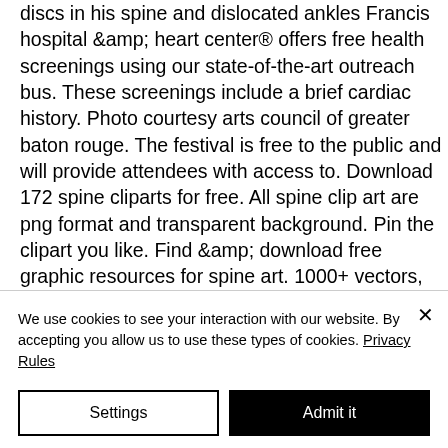discs in his spine and dislocated ankles Francis hospital &amp; heart center® offers free health screenings using our state-of-the-art outreach bus. These screenings include a brief cardiac history. Photo courtesy arts council of greater baton rouge. The festival is free to the public and will provide attendees with access to. Download 172 spine cliparts for free. All spine clip art are png format and transparent background. Pin the clipart you like. Find &amp; download free graphic resources for spine art. 1000+ vectors, stock photos &amp; psd files. ✓
We use cookies to see your interaction with our website. By accepting you allow us to use these types of cookies. Privacy Rules
Settings
Admit it